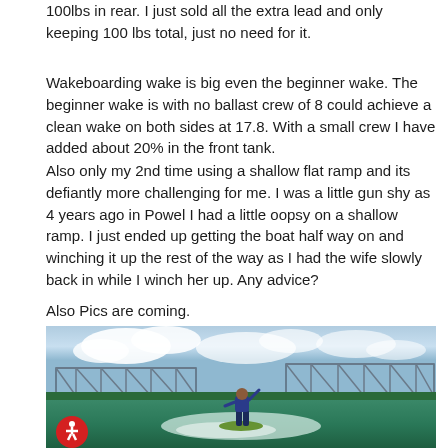100lbs in rear. I just sold all the extra lead and only keeping 100 lbs total, just no need for it.
Wakeboarding wake is big even the beginner wake. The beginner wake is with no ballast crew of 8 could achieve a clean wake on both sides at 17.8. With a small crew I have added about 20% in the front tank.
Also only my 2nd time using a shallow flat ramp and its defiantly more challenging for me. I was a little gun shy as 4 years ago in Powel I had a little oopsy on a shallow ramp. I just ended up getting the boat half way on and winching it up the rest of the way as I had the wife slowly back in while I winch her up. Any advice?
Also Pics are coming.
[Figure (photo): Person wakeboarding/wake surfing on a green board on a river, with a large metal truss bridge in the background and cloudy blue sky. An accessibility icon (red circle with white figure) is visible in the bottom-left corner of the image.]